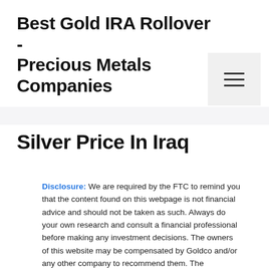Best Gold IRA Rollover - Precious Metals Companies
Silver Price In Iraq
Disclosure: We are required by the FTC to remind you that the content found on this webpage is not financial advice and should not be taken as such. Always do your own research and consult a financial professional before making any investment decisions. The owners of this website may be compensated by Goldco and/or any other company to recommend them. The